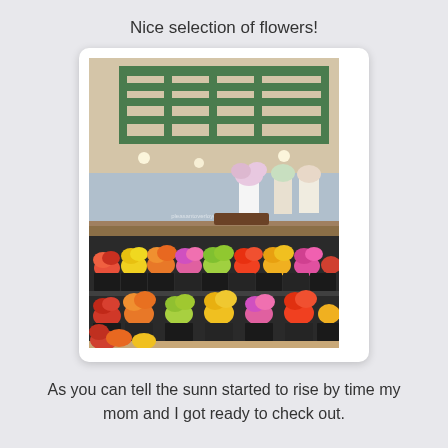Nice selection of flowers!
[Figure (photo): Interior of a grocery store or flower shop showing a large display of colorful flowers arranged on tiered shelving. A green metal grid structure hangs from the ceiling above. Various bouquets including pink, yellow, orange, and red flowers fill the lower shelves. Orchids and other potted plants are visible on upper shelving in the background. A watermark reading 'pleasantoverloyes.blogspot.com' is faintly visible.]
As you can tell the sunn started to rise by time my mom and I got ready to check out.